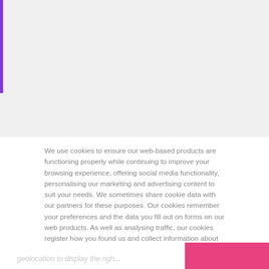We use cookies to ensure our web-based products are functioning properly while continuing to improve your browsing experience, offering social media functionality, personalising our marketing and advertising content to suit your needs. We sometimes share cookie data with our partners for these purposes. Our cookies remember your preferences and the data you fill out on forms on our web products. As well as analysing traffic, our cookies register how you found us and collect information about your browsing habits. By continuing to use our web products, you agree to our use of cookies. Learn more on the Privacy Policy and Privacy Notice pages.
I agree
Learn more ›
geolocation to display the righ...